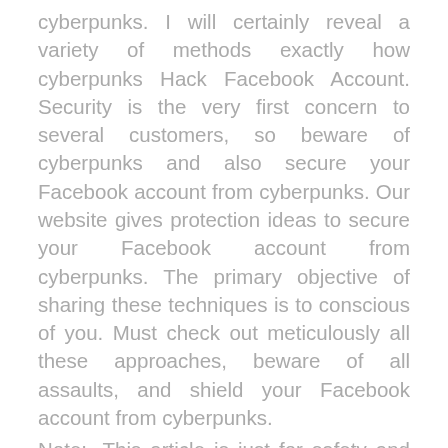cyberpunks. I will certainly reveal a variety of methods exactly how cyberpunks Hack Facebook Account. Security is the very first concern to several customers, so beware of cyberpunks and also secure your Facebook account from cyberpunks. Our website gives protection ideas to secure your Facebook account from cyberpunks. The primary objective of sharing these techniques is to conscious of you. Must check out meticulously all these approaches, beware of all assaults, and shield your Facebook account from cyberpunks.
Note:- This article is just for safety and security objectives, do not attempt any kind of prohibited task and also I've simply shared here explaining of concerning it.